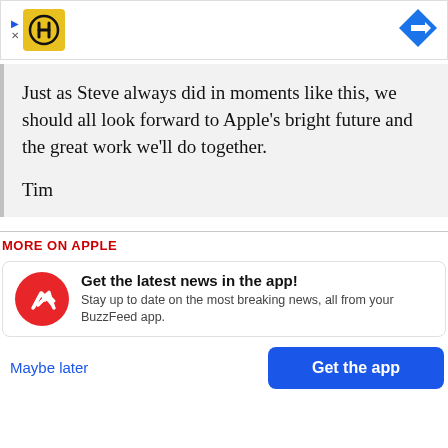[Figure (illustration): Advertisement banner with HC logo (yellow square with H and C letters) on the left and a blue diamond turn-right navigation icon on the right. Small play and X icons near the logo.]
Just as Steve always did in moments like this, we should all look forward to Apple’s bright future and the great work we’ll do together.

Tim
MORE ON APPLE
Get the latest news in the app! Stay up to date on the most breaking news, all from your BuzzFeed app.
Maybe later
Get the app